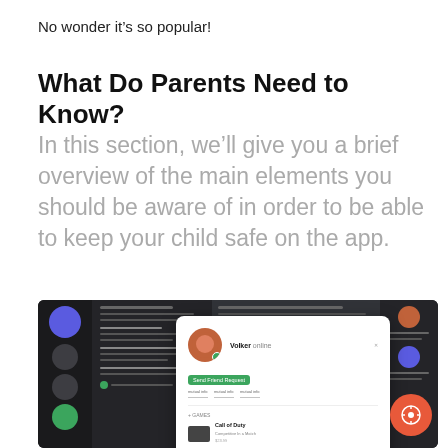No wonder it’s so popular!
What Do Parents Need to Know?
In this section, we’ll give you a brief overview of the main elements you should be aware of in order to be able to keep your child safe on the app.
[Figure (screenshot): Screenshot of a Discord-like dark UI showing a user profile card popup with name 'Volker', a green 'Send Friend Request' button, game activity showing 'Call of Duty', and an orange circular button with a gamepad icon.]